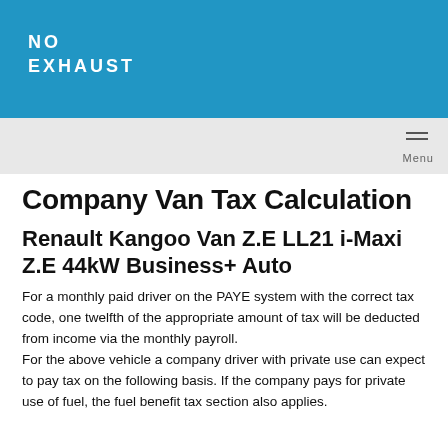NO EXHAUST
Company Van Tax Calculation
Renault Kangoo Van Z.E LL21 i-Maxi Z.E 44kW Business+ Auto
For a monthly paid driver on the PAYE system with the correct tax code, one twelfth of the appropriate amount of tax will be deducted from income via the monthly payroll.
For the above vehicle a company driver with private use can expect to pay tax on the following basis. If the company pays for private use of fuel, the fuel benefit tax section also applies.